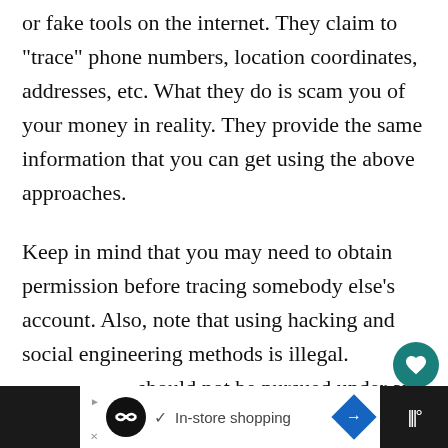or fake tools on the internet. They claim to “trace” phone numbers, location coordinates, addresses, etc. What they do is scam you of your money in reality. They provide the same information that you can get using the above approaches.
Keep in mind that you may need to obtain permission before tracing somebody else’s account. Also, note that using hacking and social engineering methods is illegal. It should not be pursued under any circumstances.
[Figure (screenshot): Mobile UI overlay with heart (favorite) icon button (teal circle) and share icon button (white circle with shadow), plus a 'What's Next' card showing a phone image thumbnail and text 'What Does It Mean When...']
[Figure (screenshot): Bottom advertisement bar with dark background on sides, white center section containing a circular black logo, checkmark, 'In-store shopping' text, blue diamond arrow icon, and signal/wifi style icon on dark right side.]